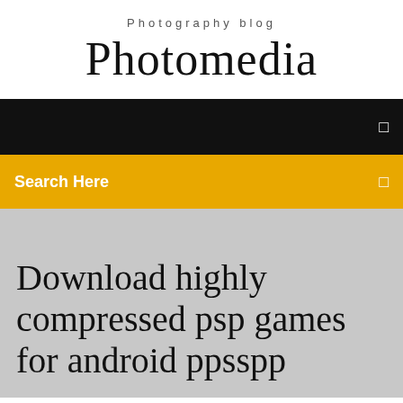Photography blog
Photomedia
☰
Search Here
Download highly compressed psp games for android ppsspp